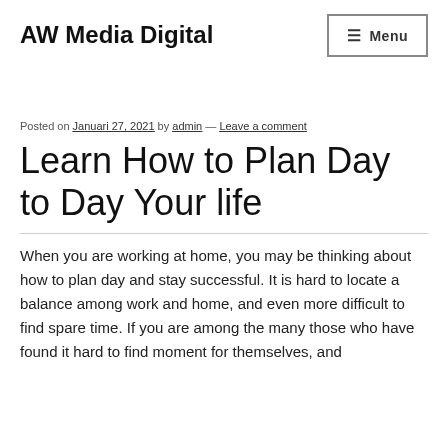AW Media Digital
Posted on Januari 27, 2021 by admin — Leave a comment
Learn How to Plan Day to Day Your life
When you are working at home, you may be thinking about how to plan day and stay successful. It is hard to locate a balance among work and home, and even more difficult to find spare time. If you are among the many those who have found it hard to find moment for themselves, and